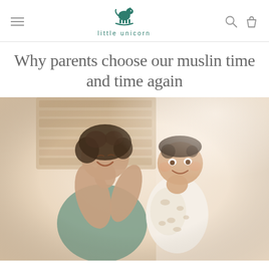little unicorn
Why parents choose our muslin time and time again
[Figure (photo): A smiling mother holding up a happy baby wrapped in a white muslin swaddle blanket with a horse/animal print. The background shows a warm, softly lit room with wooden elements.]